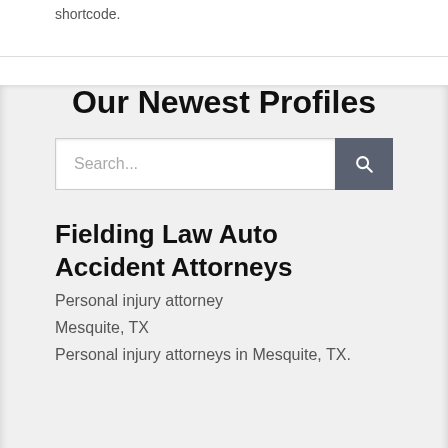shortcode.
Our Newest Profiles
Search...
Fielding Law Auto Accident Attorneys
Personal injury attorney
Mesquite, TX
Personal injury attorneys in Mesquite, TX.